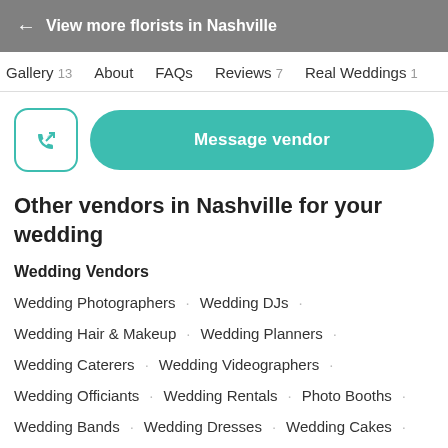← View more florists in Nashville
Gallery 13  About  FAQs  Reviews 7  Real Weddings 1
[Figure (other): Phone icon button and teal Message vendor button]
Other vendors in Nashville for your wedding
Wedding Vendors
Wedding Photographers · Wedding DJs ·
Wedding Hair & Makeup · Wedding Planners ·
Wedding Caterers · Wedding Videographers ·
Wedding Officiants · Wedding Rentals · Photo Booths ·
Wedding Bands · Wedding Dresses · Wedding Cakes ·